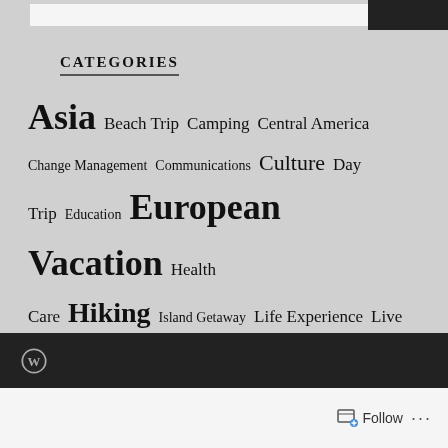CATEGORIES
Asia  Beach Trip  Camping  Central America  Change Management  Communications  Culture  Day Trip  Education  European Vacation  Health Care  Hiking  Island Getaway  Life Experience  Live Entertainment  Middle East  North America  Outdoor Adventure  Road trip  South America  Uncategorized  Weekend Getaway
Follow